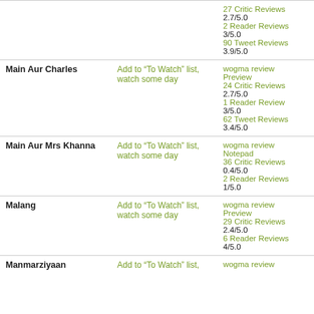| Movie | Action | Reviews |
| --- | --- | --- |
|  |  | 27 Critic Reviews
2.7/5.0
2 Reader Reviews
3/5.0
90 Tweet Reviews
3.9/5.0 |
| Main Aur Charles | Add to “To Watch” list, watch some day | wogma review
Preview
24 Critic Reviews
2.7/5.0
1 Reader Review
3/5.0
62 Tweet Reviews
3.4/5.0 |
| Main Aur Mrs Khanna | Add to “To Watch” list, watch some day | wogma review
Notepad
36 Critic Reviews
0.4/5.0
2 Reader Reviews
1/5.0 |
| Malang | Add to “To Watch” list, watch some day | wogma review
Preview
29 Critic Reviews
2.4/5.0
6 Reader Reviews
4/5.0 |
| Manmarziyaan | Add to “To Watch” list, | wogma review |